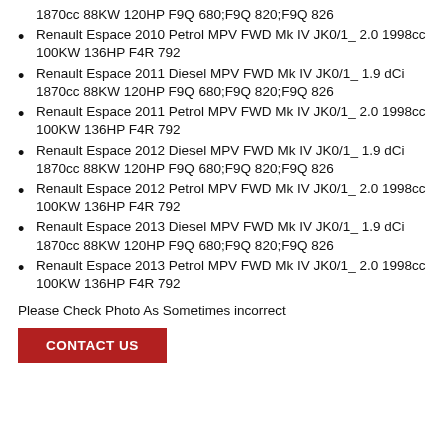1870cc 88KW 120HP F9Q 680;F9Q 820;F9Q 826
Renault Espace 2010 Petrol MPV FWD Mk IV JK0/1_ 2.0 1998cc 100KW 136HP F4R 792
Renault Espace 2011 Diesel MPV FWD Mk IV JK0/1_ 1.9 dCi 1870cc 88KW 120HP F9Q 680;F9Q 820;F9Q 826
Renault Espace 2011 Petrol MPV FWD Mk IV JK0/1_ 2.0 1998cc 100KW 136HP F4R 792
Renault Espace 2012 Diesel MPV FWD Mk IV JK0/1_ 1.9 dCi 1870cc 88KW 120HP F9Q 680;F9Q 820;F9Q 826
Renault Espace 2012 Petrol MPV FWD Mk IV JK0/1_ 2.0 1998cc 100KW 136HP F4R 792
Renault Espace 2013 Diesel MPV FWD Mk IV JK0/1_ 1.9 dCi 1870cc 88KW 120HP F9Q 680;F9Q 820;F9Q 826
Renault Espace 2013 Petrol MPV FWD Mk IV JK0/1_ 2.0 1998cc 100KW 136HP F4R 792
Please Check Photo As Sometimes incorrect
CONTACT US